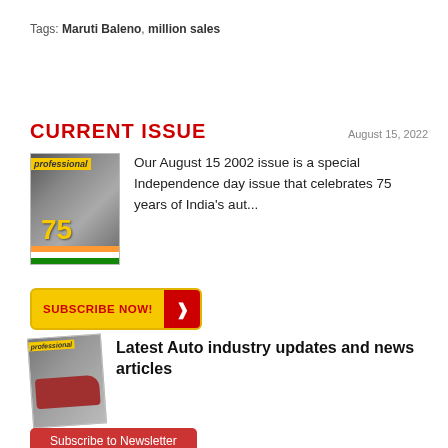Tags: Maruti Baleno, million sales
CURRENT ISSUE
August 15, 2022
[Figure (photo): Cover of Professional Auto magazine - Independence Day special issue celebrating 75 years of India's automobile industry, with Indian flag colors]
Our August 15 2002 issue is a special Independence day issue that celebrates 75 years of India's aut...
SUBSCRIBE NOW!
[Figure (photo): Cover of Professional Auto magazine showing a red Honda City car]
Latest Auto industry updates and news articles
Subscribe to Newsletter